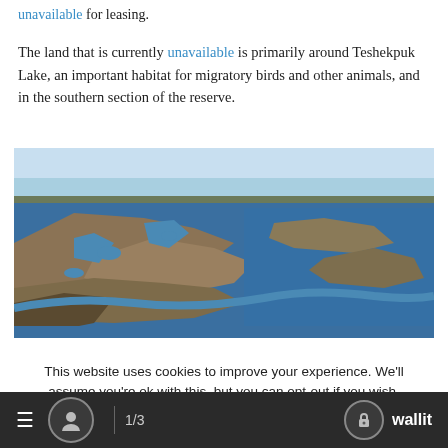unavailable for leasing.
The land that is currently unavailable is primarily around Teshekpuk Lake, an important habitat for migratory birds and other animals, and in the southern section of the reserve.
[Figure (photo): Aerial photo of Teshekpuk Lake area showing wetlands, tundra, and lake water with islands and meandering shorelines under a blue sky.]
This website uses cookies to improve your experience. We'll assume you're ok with this, but you can opt-out if you wish.
≡  [user icon]  1/3  [lock icon] wallit